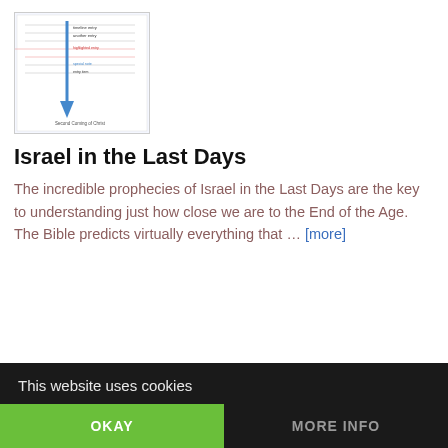[Figure (other): Thumbnail image of a biblical timeline chart showing Israel in the Last Days with a blue vertical arrow pointing downward labeled 'Second Coming of Christ']
Israel in the Last Days
The incredible prophecies of Israel in the Last Days are the key to understanding just how close we are to the End of the Age.  The Bible predicts virtually everything that … [more]
This website uses cookies
OKAY
MORE INFO